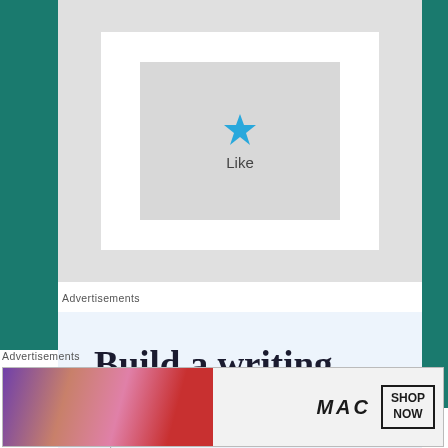[Figure (screenshot): UI card showing a star 'Like' button on gray background with white border frame]
Advertisements
[Figure (infographic): Advertisement for a writing app with text 'Build a writing habit. Post on the go.' on light blue background with app icon]
Advertisements
[Figure (photo): MAC cosmetics advertisement showing lipsticks and 'SHOP NOW' button]